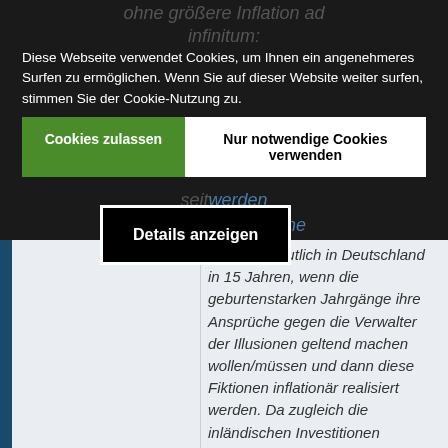[Figure (screenshot): Cookie consent overlay on a dark-background webpage. Background shows italic German text with a URL (https://zinsfehler.com/2016/11/2//debitismus-ad-infinitum/). The cookie banner reads: 'Diese Webseite verwendet Cookies, um Ihnen ein angenehmeres Surfen zu ermöglichen. Wenn Sie auf dieser Website weiter surfen, stimmen Sie der Cookie-Nutzung zu.' Two buttons: 'Cookies zulassen' (green) and 'Nur notwendige Cookies verwenden' (white). A 'Details anzeigen' black button with white border overlaps. Below the dark section, a light grey area shows italic German article text about geburtenstarke Jahrgänge and inflation.]
Diese Webseite verwendet Cookies, um Ihnen ein angenehmeres Surfen zu ermöglichen. Wenn Sie auf dieser Website weiter surfen, stimmen Sie der Cookie-Nutzung zu.
Cookies zulassen
Nur notwendige Cookies verwenden
Details anzeigen
ganze vermutlich in Deutschland in 15 Jahren, wenn die geburtenstarken Jahrgänge ihre Ansprüche gegen die Verwalter der Illusionen geltend machen wollen/müssen und dann diese Fiktionen inflationär realisiert werden. Da zugleich die inländischen Investitionen vernachlässigt wurden, wird dieser Inflationseffekt noch stärker wirken. Ein wenig